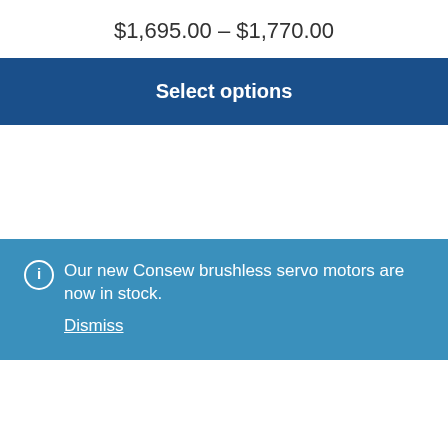$1,695.00 – $1,770.00
Select options
Our new Consew brushless servo motors are now in stock.
Dismiss